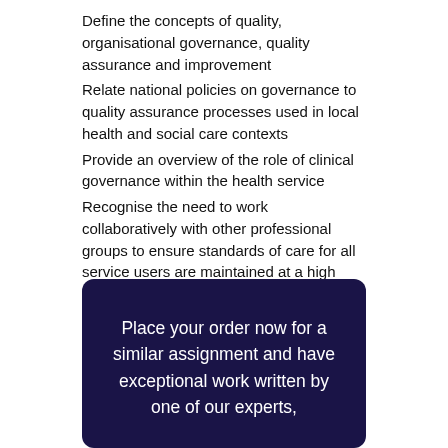Define the concepts of quality, organisational governance, quality assurance and improvement
Relate national policies on governance to quality assurance processes used in local health and social care contexts
Provide an overview of the role of clinical governance within the health service
Recognise the need to work collaboratively with other professional groups to ensure standards of care for all service users are maintained at a high level
Explore the roles and responsibilities of a range of health and social care professions within the multi-disciplinary team
Explore the values needed for effective inter-professional working
Draw conclusions about the contribution of inter-professional collaboration to the safe and effective care for service users in a range of care contexts
Place your order now for a similar assignment and have exceptional work written by one of our experts,